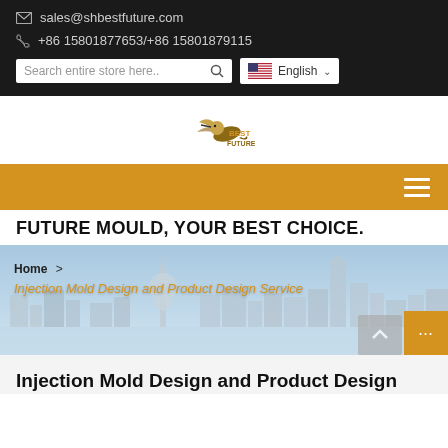sales@shbestfuture.com
+86 15801877653/+86 15801879115
Search entire store here..  English
[Figure (logo): Best Future company logo with hummingbird]
FUTURE MOULD, YOUR BEST CHOICE.
Home  >  Injection Mold Design and Product Design Service
Injection Mold Design and Product Design